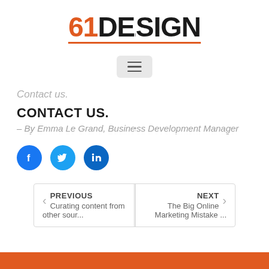[Figure (logo): 61DESIGN logo with '61' in orange and 'DESIGN' in black, with orange underline]
[Figure (other): Hamburger menu button with three horizontal lines on a light grey rounded rectangle background]
Contact us.
CONTACT US.
– By Emma Le Grand, Business Development Manager
[Figure (other): Three social media icons: Facebook (blue circle), Twitter (blue circle), LinkedIn (blue circle)]
PREVIOUS
Curating content from other sour...
NEXT
The Big Online Marketing Mistake ...